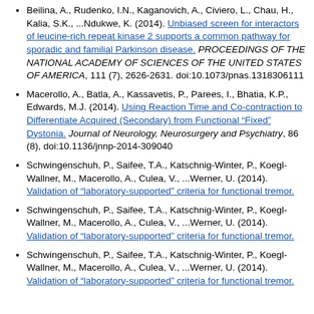Beilina, A., Rudenko, I.N., Kaganovich, A., Civiero, L., Chau, H., Kalia, S.K., ...Ndukwe, K. (2014). Unbiased screen for interactors of leucine-rich repeat kinase 2 supports a common pathway for sporadic and familial Parkinson disease. PROCEEDINGS OF THE NATIONAL ACADEMY OF SCIENCES OF THE UNITED STATES OF AMERICA, 111 (7), 2626-2631. doi:10.1073/pnas.1318306111
Macerollo, A., Batla, A., Kassavetis, P., Parees, I., Bhatia, K.P., Edwards, M.J. (2014). Using Reaction Time and Co-contraction to Differentiate Acquired (Secondary) from Functional "Fixed" Dystonia. Journal of Neurology, Neurosurgery and Psychiatry, 86 (8), doi:10.1136/jnnp-2014-309040
Schwingenschuh, P., Saifee, T.A., Katschnig-Winter, P., Koegl-Wallner, M., Macerollo, A., Culea, V., ...Werner, U. (2014). Validation of "laboratory-supported" criteria for functional tremor.
Schwingenschuh, P., Saifee, T.A., Katschnig-Winter, P., Koegl-Wallner, M., Macerollo, A., Culea, V., ...Werner, U. (2014). Validation of "laboratory-supported" criteria for functional tremor.
Schwingenschuh, P., Saifee, T.A., Katschnig-Winter, P., Koegl-Wallner, M., Macerollo, A., Culea, V., ...Werner, U. (2014). Validation of "laboratory-supported" criteria for functional tremor.